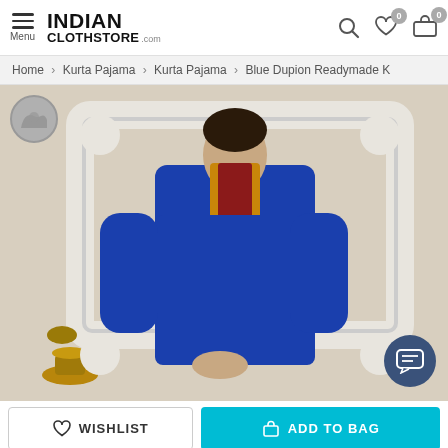INDIAN CLOTHSTORE.COM — Menu | Search | Wishlist 0 | Bag 0
Home > Kurta Pajama > Kurta Pajama > Blue Dupion Readymade K
[Figure (photo): Man wearing a royal blue dupion silk kurta with colorful embroidery at the neckline, standing in front of a white ornate frame backdrop with a brass diya on the left side. A chat button overlay is in the bottom right.]
WISHLIST
ADD TO BAG